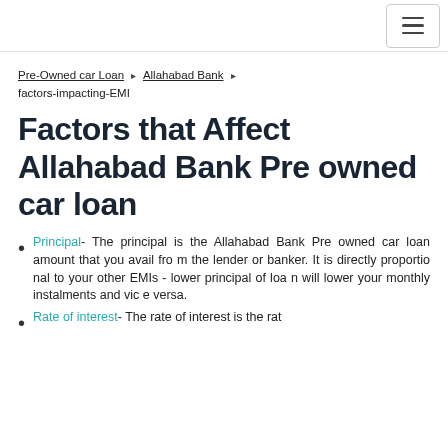☰
Pre-Owned car Loan ▸ Allahabad Bank ▸ factors-impacting-EMI
Factors that Affect Allahabad Bank Pre owned car loan
Principal- The principal is the Allahabad Bank Pre owned car loan amount that you avail from the lender or banker. It is directly proportional to your other EMIs - lower principal of loan will lower your monthly instalments and vice versa.
Rate of interest- The rate of interest is the rat